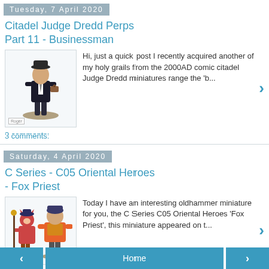Tuesday, 7 April 2020
Citadel Judge Dredd Perps Part 11 - Businessman
[Figure (photo): Miniature figure of a businessman on a base]
Hi, just a quick post I recently acquired another of my holy grails from the  2000AD comic citadel Judge Dredd miniatures range the 'b...
3 comments:
Saturday, 4 April 2020
C Series - C05 Oriental Heroes - Fox Priest
[Figure (photo): Two miniature figures from C Series C05 Oriental Heroes]
Today I have an interesting oldhammer miniature for you, the C Series C05 Oriental Heroes 'Fox Priest', this miniature appeared on t...
3 comments:
‹   Home   ›